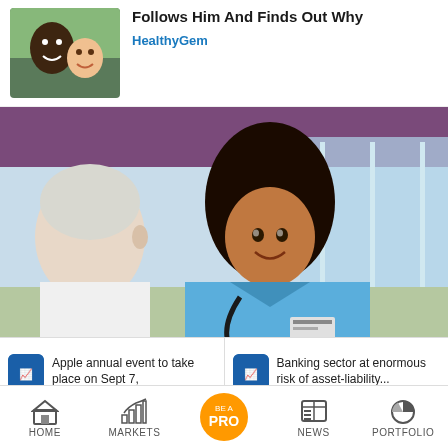[Figure (photo): Thumbnail photo of a man and a child smiling together]
Follows Him And Finds Out Why
HealthyGem
[Figure (photo): A smiling nurse in blue scrubs with a stethoscope talking to an elderly patient]
Apple annual event to take place on Sept 7,
Banking sector at enormous risk of asset-liability...
HOME  MARKETS  BE A PRO  NEWS  PORTFOLIO